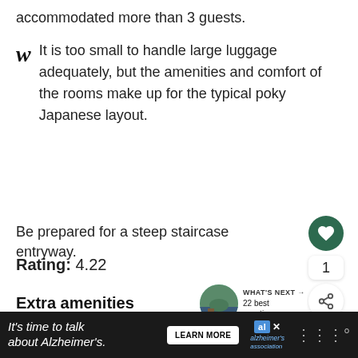accommodated more than 3 guests.
It is too small to handle large luggage adequately, but the amenities and comfort of the rooms make up for the typical poky Japanese layout.
Be prepared for a steep staircase entryway.
Rating:  4.22
Extra amenities
Private entrance
It's time to talk about Alzheimer's.  LEARN MORE